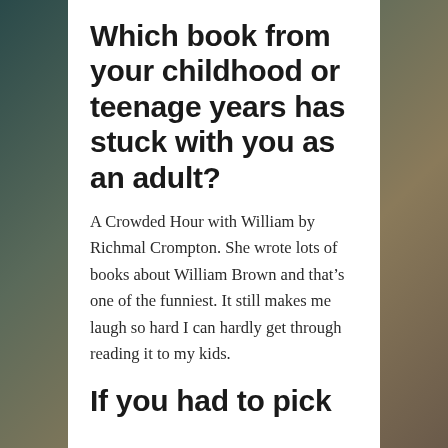Which book from your childhood or teenage years has stuck with you as an adult?
A Crowded Hour with William by Richmal Crompton. She wrote lots of books about William Brown and that’s one of the funniest. It still makes me laugh so hard I can hardly get through reading it to my kids.
If you had to pick